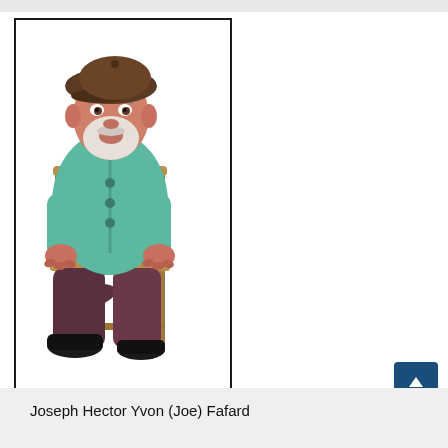[Figure (photo): A ceramic or painted sculpture of an elderly man with a white beard, wearing a brown flat cap, a teal/green coat, and dark trousers, seated on a wooden chair with his hands resting on his knees. The figure has realistic facial features with a slightly open mouth.]
Joseph Hector Yvon (Joe) Fafard